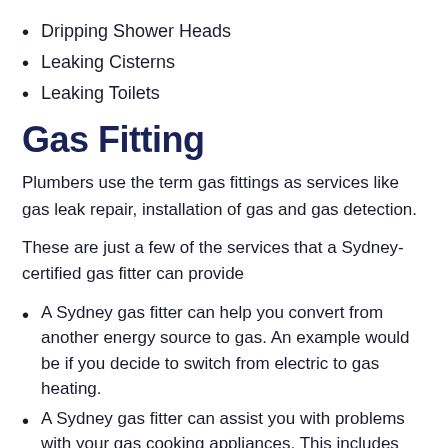Dripping Shower Heads
Leaking Cisterns
Leaking Toilets
Gas Fitting
Plumbers use the term gas fittings as services like gas leak repair, installation of gas and gas detection.
These are just a few of the services that a Sydney-certified gas fitter can provide
A Sydney gas fitter can help you convert from another energy source to gas. An example would be if you decide to switch from electric to gas heating.
A Sydney gas fitter can assist you with problems with your gas cooking appliances. This includes large high-end ranges and small cooktops. We can also provide recommendations on the best appliances to suit your